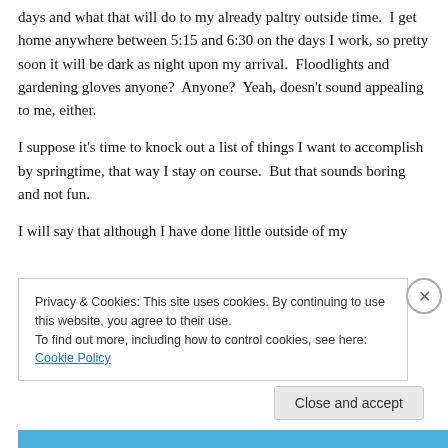days and what that will do to my already paltry outside time.  I get home anywhere between 5:15 and 6:30 on the days I work, so pretty soon it will be dark as night upon my arrival.  Floodlights and gardening gloves anyone?  Anyone?  Yeah, doesn't sound appealing to me, either.
I suppose it's time to knock out a list of things I want to accomplish by springtime, that way I stay on course.  But that sounds boring and not fun.
I will say that although I have done little outside of my
Privacy & Cookies: This site uses cookies. By continuing to use this website, you agree to their use.
To find out more, including how to control cookies, see here: Cookie Policy
Close and accept